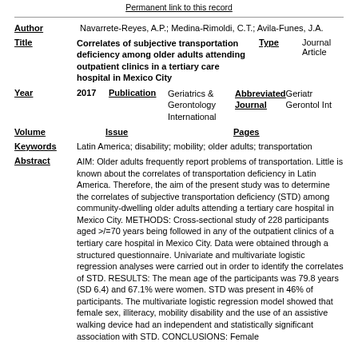Permanent link to this record
Author: Navarrete-Reyes, A.P.; Medina-Rimoldi, C.T.; Avila-Funes, J.A.
Title: Correlates of subjective transportation deficiency among older adults attending outpatient clinics in a tertiary care hospital in Mexico City | Type: Journal Article
Year: 2017 | Publication: Geriatrics & Gerontology International | Abbreviated Journal: Geriatr Gerontol Int
Volume: | Issue: | Pages:
Keywords: Latin America; disability; mobility; older adults; transportation
Abstract: AIM: Older adults frequently report problems of transportation. Little is known about the correlates of transportation deficiency in Latin America. Therefore, the aim of the present study was to determine the correlates of subjective transportation deficiency (STD) among community-dwelling older adults attending a tertiary care hospital in Mexico City. METHODS: Cross-sectional study of 228 participants aged >/=70 years being followed in any of the outpatient clinics of a tertiary care hospital in Mexico City. Data were obtained through a structured questionnaire. Univariate and multivariate logistic regression analyses were carried out in order to identify the correlates of STD. RESULTS: The mean age of the participants was 79.8 years (SD 6.4) and 67.1% were women. STD was present in 46% of participants. The multivariate logistic regression model showed that female sex, illiteracy, mobility disability and the use of an assistive walking device had an independent and statistically significant association with STD. CONCLUSIONS: Female...